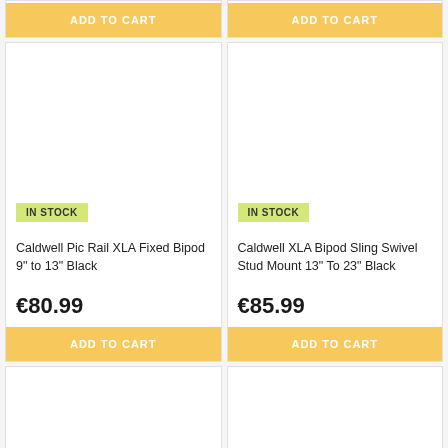ADD TO CART
ADD TO CART
IN STOCK
Caldwell Pic Rail XLA Fixed Bipod 9" to 13" Black
€80.99
ADD TO CART
IN STOCK
Caldwell XLA Bipod Sling Swivel Stud Mount 13" To 23" Black
€85.99
ADD TO CART